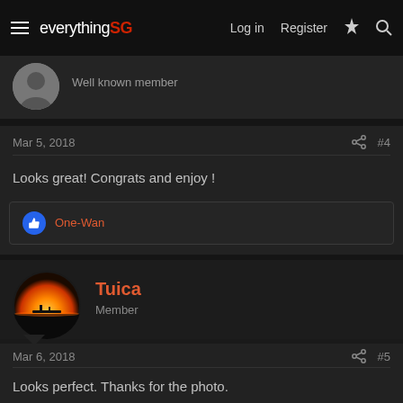everything SG — Log in  Register
Well known member
Mar 5, 2018  #4
Looks great! Congrats and enjoy !
One-Wan
Tuica
Member
Mar 6, 2018  #5
Looks perfect. Thanks for the photo.
One-Wan